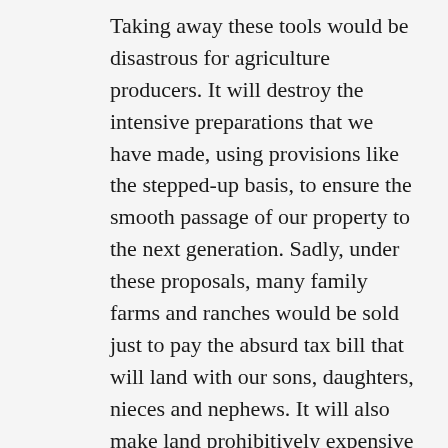Taking away these tools would be disastrous for agriculture producers. It will destroy the intensive preparations that we have made, using provisions like the stepped-up basis, to ensure the smooth passage of our property to the next generation. Sadly, under these proposals, many family farms and ranches would be sold just to pay the absurd tax bill that will land with our sons, daughters, nieces and nephews. It will also make land prohibitively expensive for those young and beginning ranchers trying to start or expand their operations.